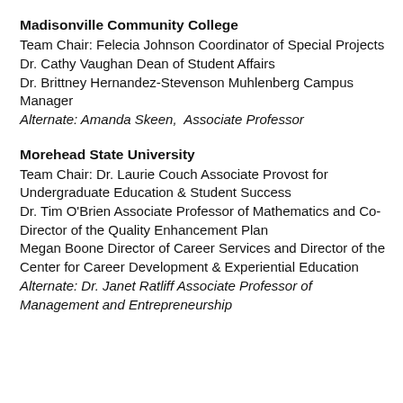Madisonville Community College
Team Chair: Felecia Johnson Coordinator of Special Projects
Dr. Cathy Vaughan Dean of Student Affairs
Dr. Brittney Hernandez-Stevenson Muhlenberg Campus Manager
Alternate: Amanda Skeen,  Associate Professor
Morehead State University
Team Chair: Dr. Laurie Couch Associate Provost for Undergraduate Education & Student Success
Dr. Tim O'Brien Associate Professor of Mathematics and Co-Director of the Quality Enhancement Plan
Megan Boone Director of Career Services and Director of the Center for Career Development & Experiential Education
Alternate: Dr. Janet Ratliff Associate Professor of Management and Entrepreneurship